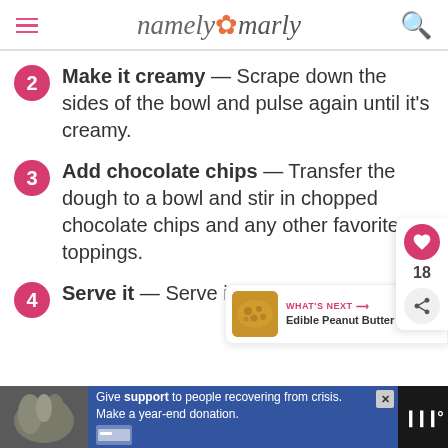namely marly
2 Make it creamy — Scrape down the sides of the bowl and pulse again until it's creamy.
3 Add chocolate chips — Transfer the dough to a bowl and stir in chopped chocolate chips and any other favorite toppings.
4 Serve it — Serve it as is with spoons.
[Figure (screenshot): What's Next panel with cookie thumbnail linking to Edible Peanut Butter Cooki...]
[Figure (screenshot): Advertisement bar: Give support to people recovering from crisis. Make a year-end donation.]